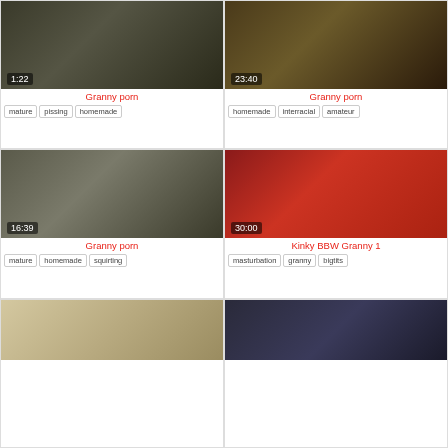[Figure (photo): Video thumbnail showing adult content, duration 1:22]
Granny porn
mature  pissing  homemade
[Figure (photo): Video thumbnail showing adult content, duration 23:40]
Granny porn
homemade  interracial  amateur
[Figure (photo): Video thumbnail showing adult content, duration 16:39]
Granny porn
mature  homemade  squirting
[Figure (photo): Video thumbnail showing adult content, duration 30:00]
Kinky BBW Granny 1
masturbation  granny  bigtits
[Figure (photo): Video thumbnail showing adult content, partially visible]
[Figure (photo): Video thumbnail showing adult content, partially visible]